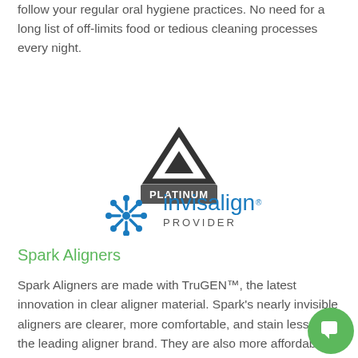follow your regular oral hygiene practices. No need for a long list of off-limits food or tedious cleaning processes every night.
[Figure (logo): Invisalign Platinum Provider logo with triangle/delta icon above 'PLATINUM' text on dark background, and the Invisalign snowflake logo with 'invisalign® PROVIDER' text]
Spark Aligners
Spark Aligners are made with TruGEN™, the latest innovation in clear aligner material. Spark's nearly invisible aligners are clearer, more comfortable, and stain less than the leading aligner brand. They are also more affordable and can generate more effective quicker tooth movement during treatment. We are